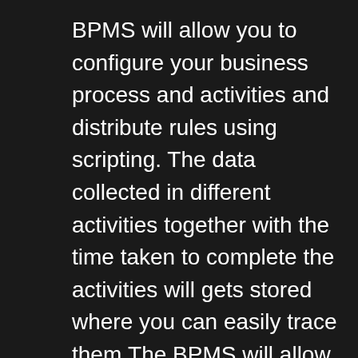BPMS will allow you to configure your business process and activities and distribute rules using scripting. The data collected in different activities together with the time taken to complete the activities will gets stored where you can easily trace them.The BPMS will allow you to put together data and information in data cells for quick access and configuration. With our BPMS solution, we helped our client CIMB Niaga, a large private bank in Indonesia, to redesign their existing system to monitor their SLA of each process of approval for their office matters.
Conclusion